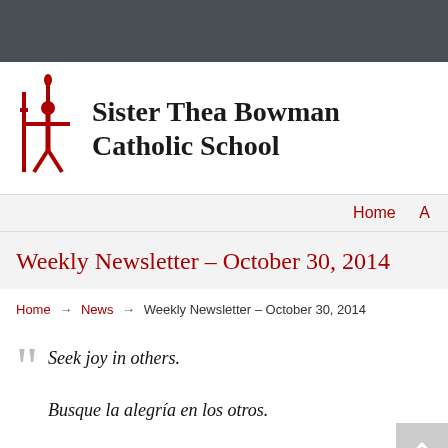[Figure (logo): Sister Thea Bowman Catholic School logo with a red stylized figure holding a candle]
Sister Thea Bowman Catholic School
Home  A
Weekly Newsletter – October 30, 2014
Home → News → Weekly Newsletter – October 30, 2014
Seek joy in others.
Busque la alegría en los otros.